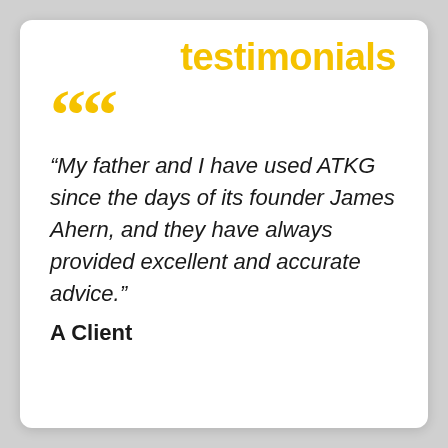testimonials
“My father and I have used ATKG since the days of its founder James Ahern, and they have always provided excellent and accurate advice.”
A Client